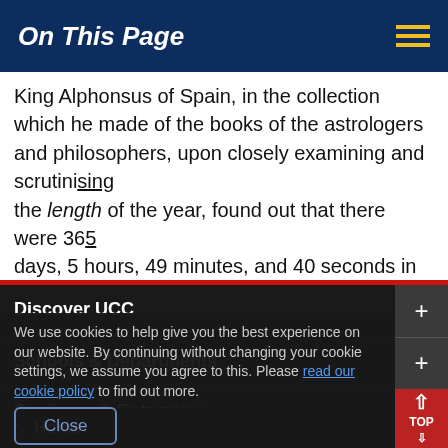On This Page
King Alphonsus of Spain, in the collection which he made of the books of the astrologers and philosophers, upon closely examining and scrutinising the length of the year, found out that there were 365 days, 5 hours, 49 minutes, and 40 seconds in the year.
Discover UCC
Schools & Departments
We use cookies to help give you the best experience on our website. By continuing without changing your cookie settings, we assume you agree to this. Please read our cookie policy to find out more.
Business & Enterprise
Alumni & Development
Home